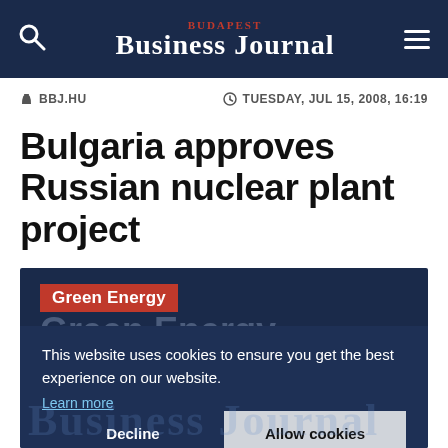Budapest Business Journal
BBJ.HU  TUESDAY, JUL 15, 2008, 16:19
Bulgaria approves Russian nuclear plant project
[Figure (screenshot): Dark navy blue image area with 'Green Energy' red tag label and a cookie consent modal overlay showing: 'This website uses cookies to ensure you get the best experience on our website. Learn more' with Decline and Allow cookies buttons, and a faded Budapest Business Journal watermark behind.]